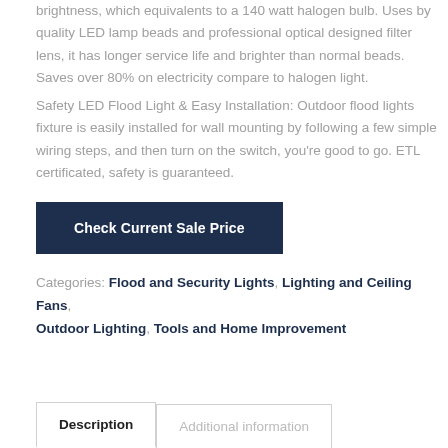brightness, which equivalents to a 140 watt halogen bulb. Uses by quality LED lamp beads and professional optical designed filter lens, it has longer service life and brighter than normal beads. Saves over 80% on electricity compare to halogen light.
Safety LED Flood Light & Easy Installation: Outdoor flood lights fixture is easily installed for wall mounting by following a few simple wiring steps, and then turn on the switch, you're good to go. ETL certificated, safety is guaranteed.
Check Current Sale Price
Categories: Flood and Security Lights, Lighting and Ceiling Fans, Outdoor Lighting, Tools and Home Improvement
Description | Additional information